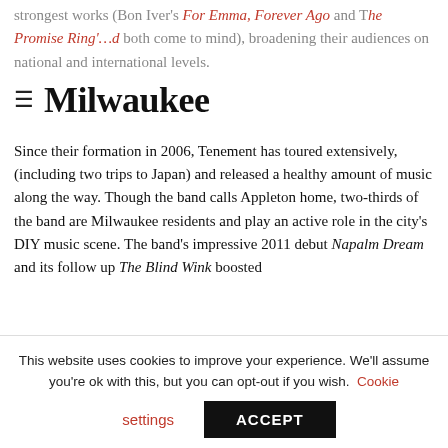strongest works (Bon Iver's For Emma, Forever Ago and The Promise Ring's …d both come to mind), broadening their audiences on national and international levels.
Milwaukee
Since their formation in 2006, Tenement has toured extensively, (including two trips to Japan) and released a healthy amount of music along the way. Though the band calls Appleton home, two-thirds of the band are Milwaukee residents and play an active role in the city's DIY music scene. The band's impressive 2011 debut Napalm Dream and its follow up The Blind Wink boosted
This website uses cookies to improve your experience. We'll assume you're ok with this, but you can opt-out if you wish. Cookie settings ACCEPT